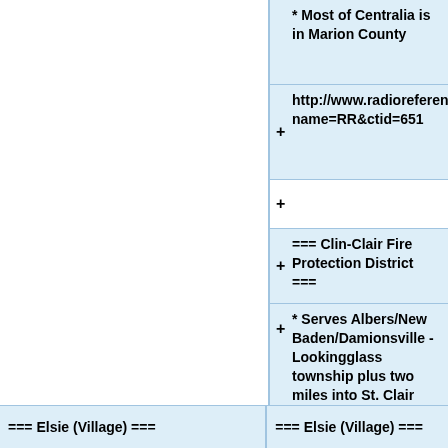* Most of Centralia is in Marion County
+ http://www.radioreference.com/modules.php?name=RR&ctid=651
+
=== Clin-Clair Fire Protection District ===
* Serves Albers/New Baden/Damionsville - Lookingglass township plus two miles into St. Clair county minus the city of New Baden.
+
+
=== Elsie (Village) ===
=== Elsie (Village) ===